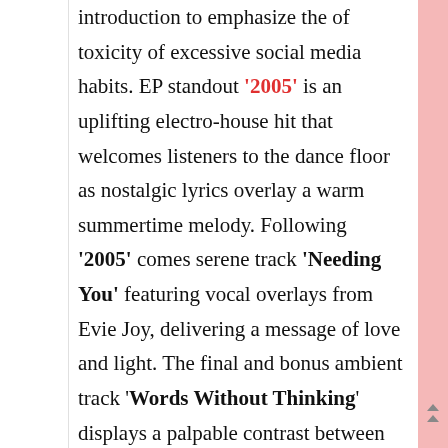introduction to emphasize the of toxicity of excessive social media habits. EP standout '2005' is an uplifting electro-house hit that welcomes listeners to the dance floor as nostalgic lyrics overlay a warm summertime melody. Following '2005' comes serene track 'Needing You' featuring vocal overlays from Evie Joy, delivering a message of love and light. The final and bonus ambient track 'Words Without Thinking' displays a palpable contrast between the rest of the EP, serving as a testament to Watson's true ambidexterity as a producer.

With a slew of impressive